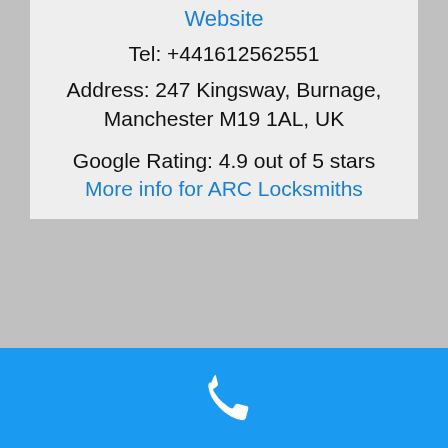Website
Tel: +441612562551
Address: 247 Kingsway, Burnage, Manchester M19 1AL, UK
Google Rating: 4.9 out of 5 stars
More info for ARC Locksmiths
Prestige Locksmiths
Locksmith
Tel: +441614462894
Address: 456 Wilmslow Rd, Withington, Manchester M20 3BG, UK
[Figure (other): Blue bottom navigation bar with white phone/call icon]